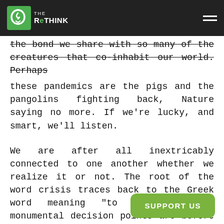THE RETHINK
the bond we share with so many of the creatures that co-inhabit our world. Perhaps these pandemics are the pigs and the pangolins fighting back, Nature saying no more. If we’re lucky, and smart, we’ll listen.
We are after all inextricably connected to one another whether we realize it or not. The root of the word crisis traces back to the Greek word meaning “to decide,” many monumental decision points are before us at this historic time.
[Figure (other): Social media buttons: Facebook Like (0) and Twitter Tweet]
0 Comments
[Figure (other): SUPPORT US green button]